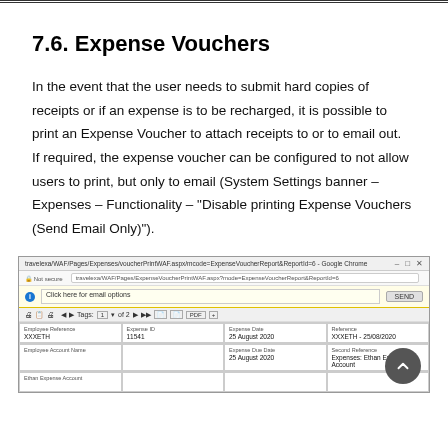7.6. Expense Vouchers
In the event that the user needs to submit hard copies of receipts or if an expense is to be recharged, it is possible to print an Expense Voucher to attach receipts to or to email out.  If required, the expense voucher can be configured to not allow users to print, but only to email (System Settings banner – Expenses – Functionality – “Disable printing Expense Vouchers (Send Email Only)”).
[Figure (screenshot): Screenshot of a browser window showing an Expense Voucher report page in Google Chrome with an email options bar, toolbar with print controls, and a form showing Employee Reference (XXXETH), Expense ID (11541), Expense Date (25 August 2020), Reference (XXXETH - 25/08/2020), Employee Account Name, Expense Due Date, Second Reference, Ethan Expense Account fields.]